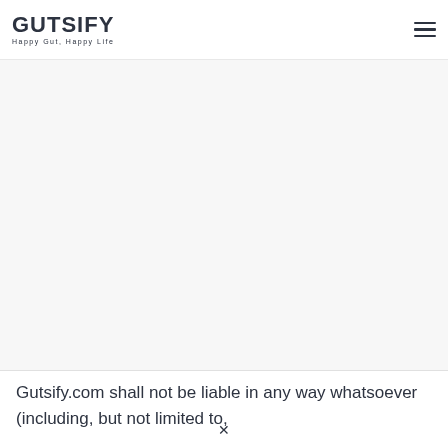GUTSIFY Happy Gut, Happy Life
Gutsify.com shall not be liable in any way whatsoever (including, but not limited to,